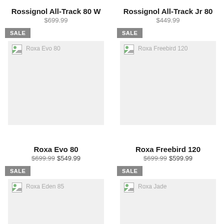Rossignol All-Track 80 W
$699.99
SALE
[Figure (photo): Broken image placeholder for Roxa Evo 80]
Rossignol All-Track Jr 80
$449.99
SALE
[Figure (photo): Broken image placeholder for Roxa Freebird 120]
Roxa Evo 80
$699.99 $549.99
SALE
[Figure (photo): Broken image placeholder for Roxa Eden 85]
Roxa Freebird 120
$699.99 $599.99
SALE
[Figure (photo): Broken image placeholder for Roxa Jade]